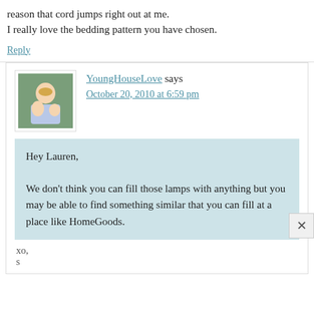reason that cord jumps right out at me.
I really love the bedding pattern you have chosen.
Reply
YoungHouseLove says
October 20, 2010 at 6:59 pm
Hey Lauren,

We don't think you can fill those lamps with anything but you may be able to find something similar that you can fill at a place like HomeGoods.
xo,
s